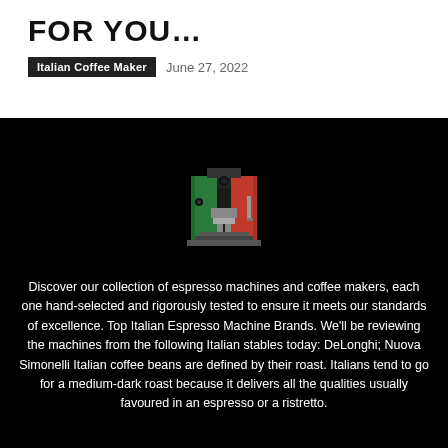FOR YOU…
Italian Coffee Maker   June 27, 2022
[Figure (illustration): Pixel-art style espresso machine in Italian flag colors (green, white, red) on a black background]
Discover our collection of espresso machines and coffee makers, each one hand-selected and rigorously tested to ensure it meets our standards of excellence. Top Italian Espresso Machine Brands. We'll be reviewing the machines from the following Italian stables today: DeLonghi; Nuova Simonelli Italian coffee beans are defined by their roast. Italians tend to go for a medium-dark roast because it delivers all the qualities usually favoured in an espresso or a ristretto.